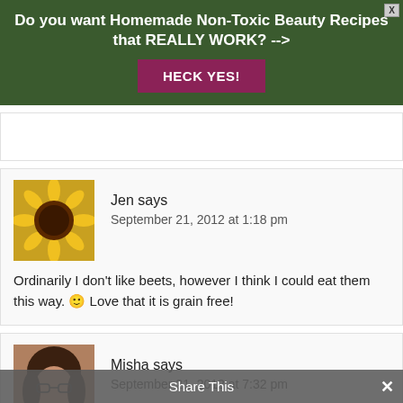[Figure (infographic): Dark green banner advertisement: 'Do you want Homemade Non-Toxic Beauty Recipes that REALLY WORK? -->' with a purple button labeled 'HECK YES!']
Jen says
September 21, 2012 at 1:18 pm

Ordinarily I don't like beets, however I think I could eat them this way. 🙂 Love that it is grain free!
Misha says
September 21, 2012 at 7:32 pm

Big hit, Lindsey – kids loved it and my husband counted it as "vegetables". It was gone in 1 day and
Share This